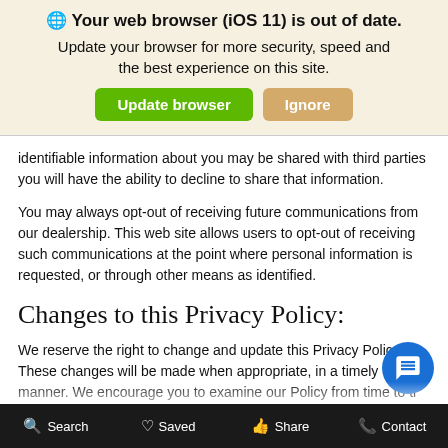[Figure (screenshot): Browser update notification banner with globe icon, bold title 'Your web browser (iOS 11) is out of date.', subtitle text, and two buttons: green 'Update browser' and tan 'Ignore']
identifiable information about you may be shared with third parties you will have the ability to decline to share that information.
You may always opt-out of receiving future communications from our dealership. This web site allows users to opt-out of receiving such communications at the point where personal information is requested, or through other means as identified.
Changes to this Privacy Policy:
We reserve the right to change and update this Privacy Policy. These changes will be made when appropriate, in a timely manner. We encourage you to examine our Policy from time to ti ensure you are aware of any changes we may have ma
Search  Saved  Share  Contact